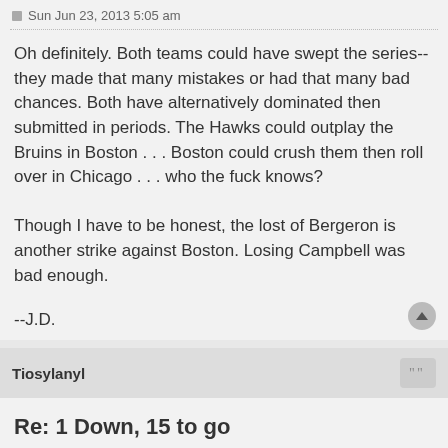Sun Jun 23, 2013 5:05 am
Oh definitely. Both teams could have swept the series--they made that many mistakes or had that many bad chances. Both have alternatively dominated then submitted in periods. The Hawks could outplay the Bruins in Boston . . . Boston could crush them then roll over in Chicago . . . who the fuck knows?

Though I have to be honest, the lost of Bergeron is another strike against Boston. Losing Campbell was bad enough.

--J.D.
Tiosylanyl
Re: 1 Down, 15 to go
Sun Jun 23, 2013 5:11 am